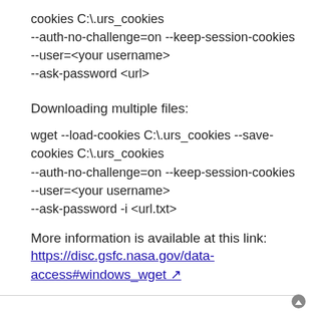cookies C:\.urs_cookies
--auth-no-challenge=on --keep-session-cookies
--user=<your username>
--ask-password <url>
Downloading multiple files:
wget --load-cookies C:\.urs_cookies --save-cookies C:\.urs_cookies
--auth-no-challenge=on --keep-session-cookies
--user=<your username>
--ask-password -i <url.txt>
More information is available at this link:
https://disc.gsfc.nasa.gov/data-access#windows_wget